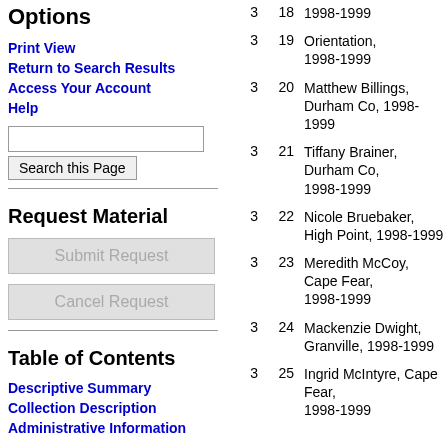Options
Print View
Return to Search Results
Access Your Account
Help
Request Material
Table of Contents
Descriptive Summary
Collection Description
Administrative Information
| Box | Folder | Description |
| --- | --- | --- |
| 3 | 18 | 1998-1999 |
| 3 | 19 | Orientation, 1998-1999 |
| 3 | 20 | Matthew Billings, Durham Co, 1998-1999 |
| 3 | 21 | Tiffany Brainer, Durham Co, 1998-1999 |
| 3 | 22 | Nicole Bruebaker, High Point, 1998-1999 |
| 3 | 23 | Meredith McCoy, Cape Fear, 1998-1999 |
| 3 | 24 | Mackenzie Dwight, Granville, 1998-1999 |
| 3 | 25 | Ingrid McIntyre, Cape Fear, 1998-1999 |